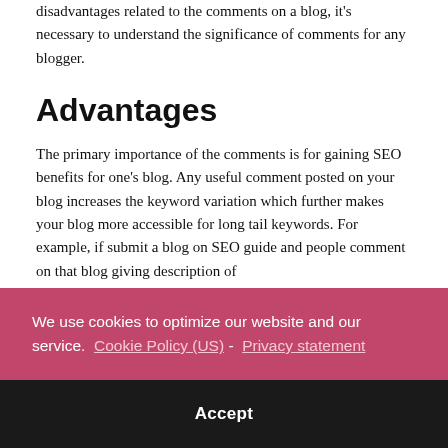disadvantages related to the comments on a blog, it's necessary to understand the significance of comments for any blogger.
Advantages
The primary importance of the comments is for gaining SEO benefits for one's blog. Any useful comment posted on your blog increases the keyword variation which further makes your blog more accessible for long tail keywords. For example, if submit a blog on SEO guide and people comment on that blog giving description of
We use cookies to optimize our website and our service.  Cookie Policy (US)  -  Privacy statement
Accept